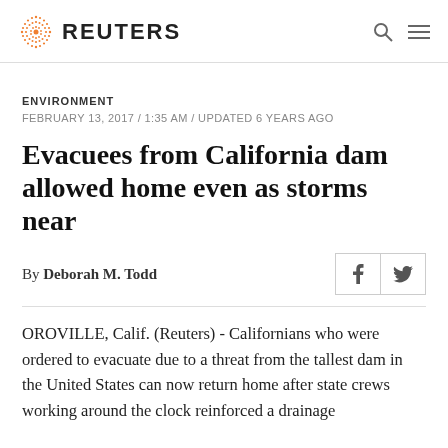REUTERS
ENVIRONMENT
FEBRUARY 13, 2017 / 1:35 AM / UPDATED 6 YEARS AGO
Evacuees from California dam allowed home even as storms near
By Deborah M. Todd
OROVILLE, Calif. (Reuters) - Californians who were ordered to evacuate due to a threat from the tallest dam in the United States can now return home after state crews working around the clock reinforced a drainage